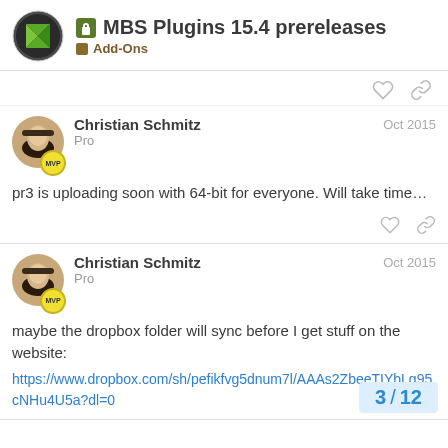MBS Plugins 15.4 prereleases – Add-Ons
Christian Schmitz
Pro
Oct 2015
pr3 is uploading soon with 64-bit for everyone. Will take time…
Christian Schmitz
Pro
Oct 2015
maybe the dropbox folder will sync before I get stuff on the website:
https://www.dropbox.com/sh/pefikfvg5dnum7l/AAAs2ZbeeTIYbLg95cNHu4U5a?dl=0
3 / 12